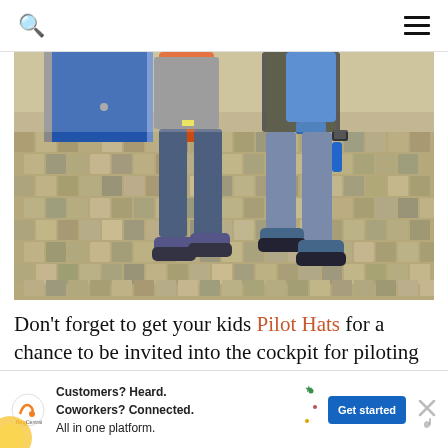Search icon and hamburger menu
[Figure (photo): Two children standing side by side wearing backpacks and sneakers on a patterned carpet floor, with a blue locker/cabinet in the background. Only the lower halves of their bodies are visible.]
Don't forget to get your kids Pilot Hats for a chance to be invited into the cockpit for piloting 101!! It works like a cha... ...look to
[Figure (infographic): Advertisement banner for RingCentral with text: Customers? Heard. Coworkers? Connected. All in one platform. With a 'Get started' button.]